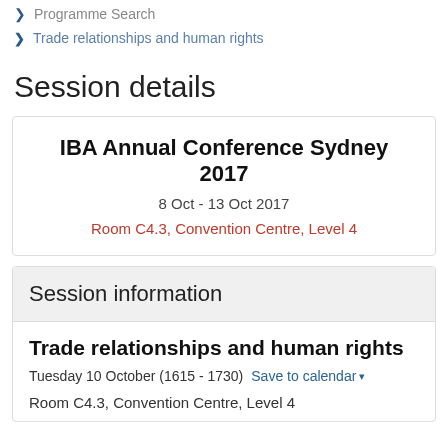Programme Search
Trade relationships and human rights
Session details
IBA Annual Conference Sydney 2017
8 Oct - 13 Oct 2017
Room C4.3, Convention Centre, Level 4
Session information
Trade relationships and human rights
Tuesday 10 October (1615 - 1730)  Save to calendar
Room C4.3, Convention Centre, Level 4